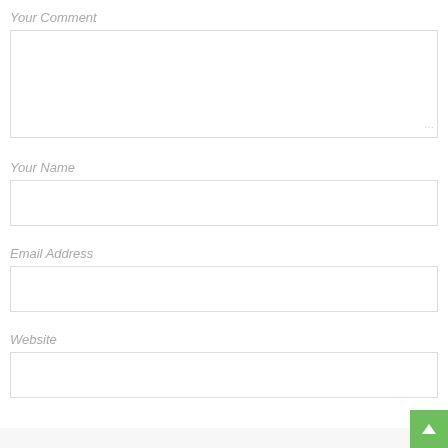Your Comment
[Figure (other): Large text area input box for comment]
Your Name
[Figure (other): Single-line text input box for name]
Email Address
[Figure (other): Single-line text input box for email address]
Website
[Figure (other): Single-line text input box for website]
[Figure (other): Green back-to-top button with upward arrow in bottom-right corner]